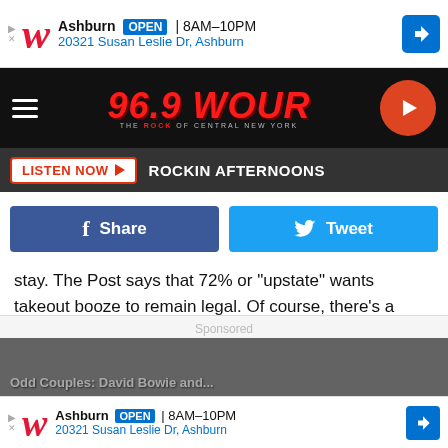[Figure (screenshot): Walgreens advertisement banner: Ashburn OPEN 8AM-10PM, 20321 Susan Leslie Dr, Ashburn]
[Figure (logo): 96.9 WOUR radio station logo with hamburger menu and play button]
LISTEN NOW ▶  ROCKIN AFTERNOONS
[Figure (infographic): Facebook Share button and Twitter Tweet button]
stay. The Post says that 72% or "upstate" wants takeout booze to remain legal. Of course, there's a debate about what constitutes upstate (or perhaps, if you further broke down the numbers to more specific regions of New York state), but that's another discussion for another time.
[Figure (screenshot): Sponsored section with Odd Couples: David Bowie and... image and Walgreens ad at bottom]